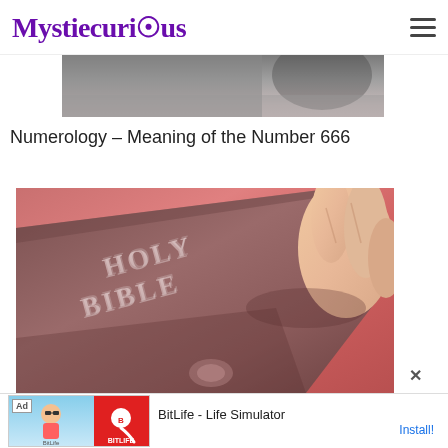Mystiecurious
[Figure (photo): Partial top image cropped, showing dark and mottled background, appears to be a continuation of a photo from a previous page]
Numerology – Meaning of the Number 666
[Figure (photo): Close-up photo of a Holy Bible with embossed text 'HOLY BIBLE' on the cover, a hand touching/holding the book, red background visible]
[Figure (screenshot): Ad banner at the bottom: BitLife - Life Simulator with Install button, showing cartoon character and app logo]